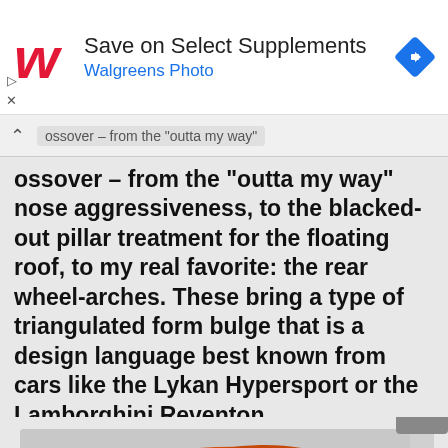[Figure (screenshot): Walgreens advertisement banner with red Walgreens script logo W, text 'Save on Select Supplements' and 'Walgreens Photo' in blue, and a blue diamond navigation icon on the right.]
ossover – from the “outta my way” nose aggressiveness, to the blacked-out pillar treatment for the floating roof, to my real favorite: the rear wheel-arches. These bring a type of triangulated form bulge that is a design language best known from cars like the Lykan Hypersport or the Lamborghini Reventon.
[Figure (photo): An orange crossover SUV (resembling a Nissan Murano) photographed from the front-left side angle, showing aggressive front fascia and rear wheel arch design.]